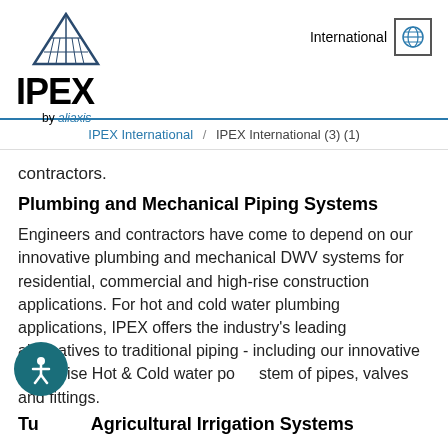[Figure (logo): IPEX by aliaxis logo with triangular building icon]
[Figure (logo): International globe icon with text 'International']
IPEX International / IPEX International (3) (1)
contractors.
Plumbing and Mechanical Piping Systems
Engineers and contractors have come to depend on our innovative plumbing and mechanical DWV systems for residential, commercial and high-rise construction applications. For hot and cold water plumbing applications, IPEX offers the industry's leading alternatives to traditional piping - including our innovative AquaRise Hot & Cold water pot system of pipes, valves and fittings.
Tu Agricultural Irrigation Systems